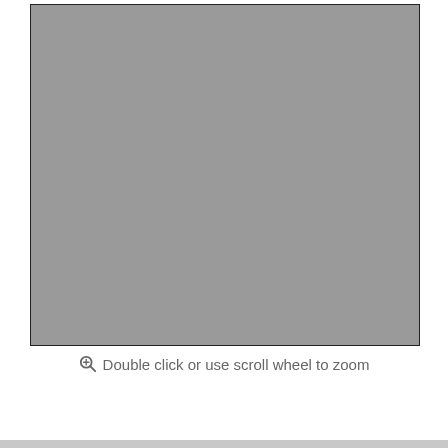[Figure (photo): Large gray placeholder image area with black border, representing an image viewer with no loaded content.]
Double click or use scroll wheel to zoom